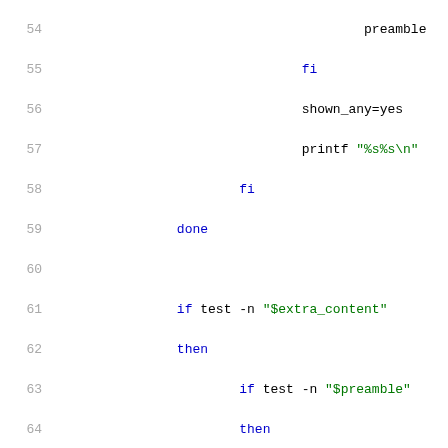[Figure (screenshot): Source code listing showing shell script lines 54-75, with syntax highlighting: keywords in blue, strings in green, comments in dark red, plain code in black. Line numbers shown in gray on the left.]